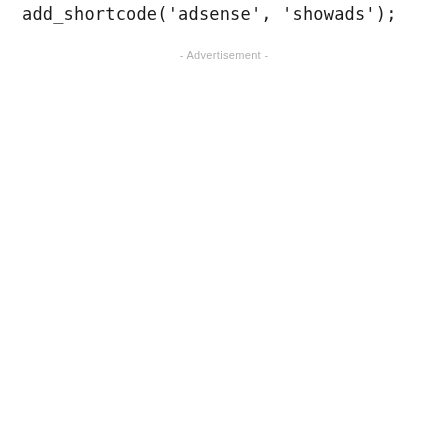add_shortcode('adsense', 'showads');
- Advertisement -